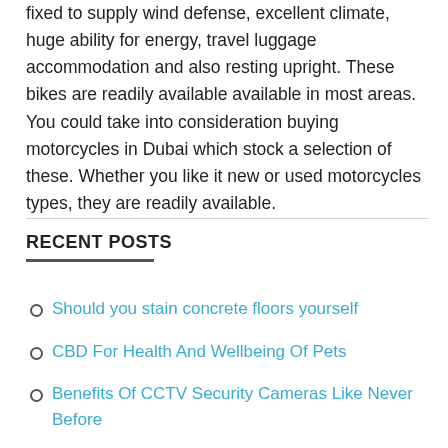fixed to supply wind defense, excellent climate, huge ability for energy, travel luggage accommodation and also resting upright. These bikes are readily available available in most areas. You could take into consideration buying motorcycles in Dubai which stock a selection of these. Whether you like it new or used motorcycles types, they are readily available.
RECENT POSTS
Should you stain concrete floors yourself
CBD For Health And Wellbeing Of Pets
Benefits Of CCTV Security Cameras Like Never Before
Designer Handbags and Purses for Ladies